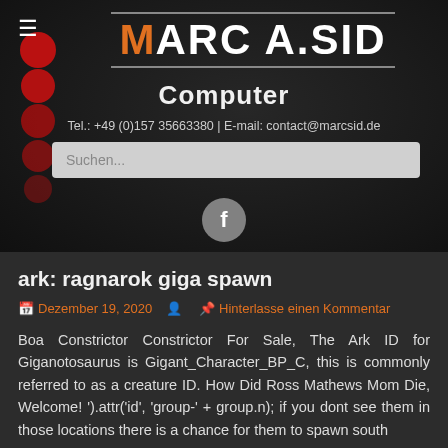MARC A.SID Computer — Tel.: +49 (0)157 35663380 | E-mail: contact@marcsid.de
ark: ragnarok giga spawn
Dezember 19, 2020  Hinterlasse einen Kommentar
Boa Constrictor Constrictor For Sale, The Ark ID for Giganotosaurus is Gigant_Character_BP_C, this is commonly referred to as a creature ID. How Did Ross Mathews Mom Die, Welcome! ').attr('id', 'group-' + group.n); if you dont see them in those locations there is a chance for them to spawn south